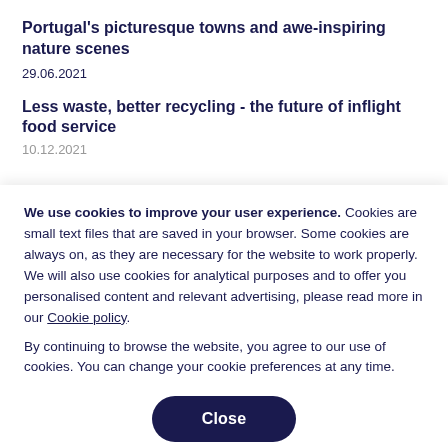Portugal's picturesque towns and awe-inspiring nature scenes
29.06.2021
Less waste, better recycling - the future of inflight food service
We use cookies to improve your user experience. Cookies are small text files that are saved in your browser. Some cookies are always on, as they are necessary for the website to work properly. We will also use cookies for analytical purposes and to offer you personalised content and relevant advertising, please read more in our Cookie policy.
By continuing to browse the website, you agree to our use of cookies. You can change your cookie preferences at any time.
Close
Set your cookie preferences